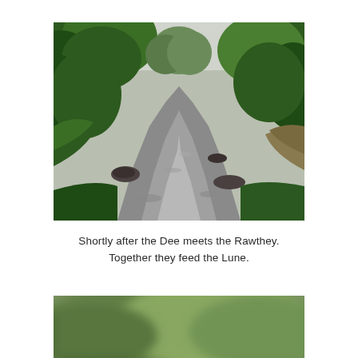[Figure (photo): A flowing river with turbulent brown-grey water rushing between tree-lined banks. Dense green trees on both sides frame the river which recedes into the distance. Overcast sky visible through the tree canopy.]
Shortly after the Dee meets the Rawthey. Together they feed the Lune.
[Figure (photo): Partially visible photograph at bottom of page, showing a blurred green landscape, only the top portion is visible.]